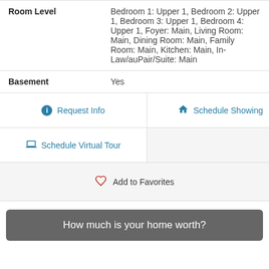| Field | Value |
| --- | --- |
| Room Level | Bedroom 1: Upper 1, Bedroom 2: Upper 1, Bedroom 3: Upper 1, Bedroom 4: Upper 1, Foyer: Main, Living Room: Main, Dining Room: Main, Family Room: Main, Kitchen: Main, In-Law/auPair/Suite: Main |
| Basement | Yes |
Request Info
Schedule Showing
Schedule Virtual Tour
Add to Favorites
How much is your home worth?